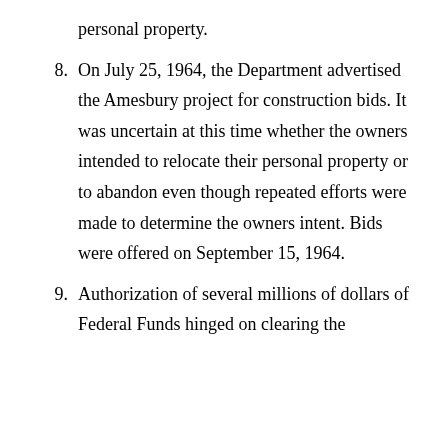personal property.
8. On July 25, 1964, the Department advertised the Amesbury project for construction bids. It was uncertain at this time whether the owners intended to relocate their personal property or to abandon even though repeated efforts were made to determine the owners intent. Bids were offered on September 15, 1964.
9. Authorization of several millions of dollars of Federal Funds hinged on clearing the